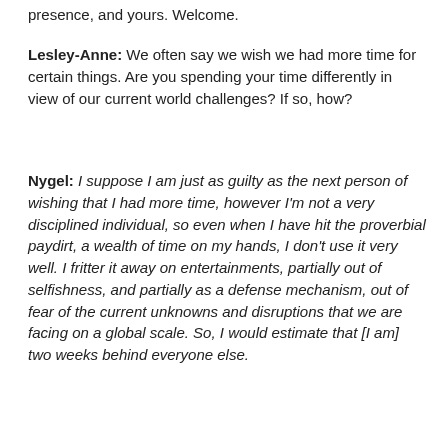presence, and yours. Welcome.
Lesley-Anne: We often say we wish we had more time for certain things. Are you spending your time differently in view of our current world challenges? If so, how?
Nygel: I suppose I am just as guilty as the next person of wishing that I had more time, however I'm not a very disciplined individual, so even when I have hit the proverbial paydirt, a wealth of time on my hands, I don't use it very well. I fritter it away on entertainments, partially out of selfishness, and partially as a defense mechanism, out of fear of the current unknowns and disruptions that we are facing on a global scale. So, I would estimate that [I am] two weeks behind everyone else.